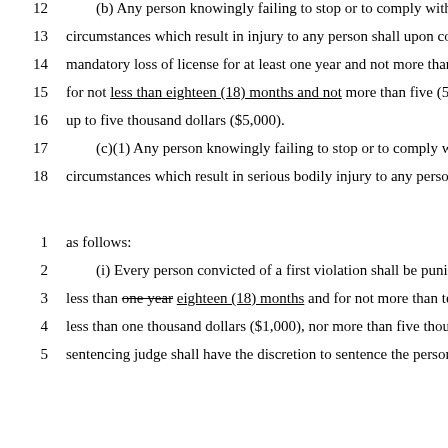12    (b) Any person knowingly failing to stop or to comply with the
13    circumstances which result in injury to any person shall upon con
14    mandatory loss of license for at least one year and not more than
15    for not less than eighteen (18) months and not more than five (5)
16    up to five thousand dollars ($5,000).
17    (c)(1) Any person knowingly failing to stop or to comply with
18    circumstances which result in serious bodily injury to any person
1     as follows:
2     (i) Every person convicted of a first violation shall be punished
3     less than one year eighteen (18) months and for not more than ten
4     less than one thousand dollars ($1,000), nor more than five thous
5     sentencing judge shall have the discretion to sentence the person